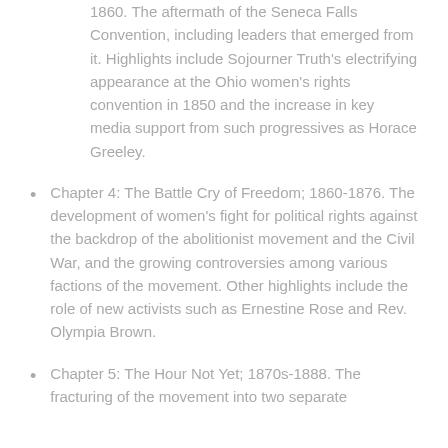1860. The aftermath of the Seneca Falls Convention, including leaders that emerged from it. Highlights include Sojourner Truth's electrifying appearance at the Ohio women's rights convention in 1850 and the increase in key media support from such progressives as Horace Greeley.
Chapter 4: The Battle Cry of Freedom; 1860-1876. The development of women's fight for political rights against the backdrop of the abolitionist movement and the Civil War, and the growing controversies among various factions of the movement. Other highlights include the role of new activists such as Ernestine Rose and Rev. Olympia Brown.
Chapter 5: The Hour Not Yet; 1870s-1888. The fracturing of the movement into two separate